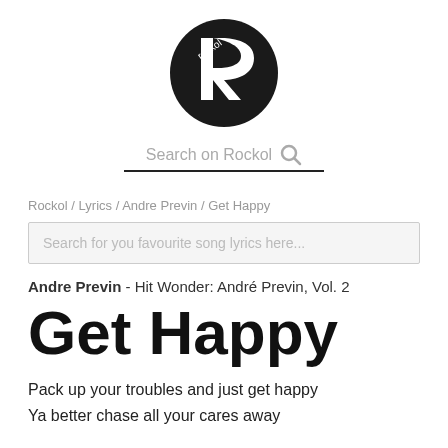[Figure (logo): Rockol logo: black circle with stylized white 'r' and text 'rockol']
Search on Rockol 🔍
Rockol / Lyrics / Andre Previn / Get Happy
Search for you favourite song lyrics here...
Andre Previn - Hit Wonder: André Previn, Vol. 2
Get Happy
Pack up your troubles and just get happy
Ya better chase all your cares away